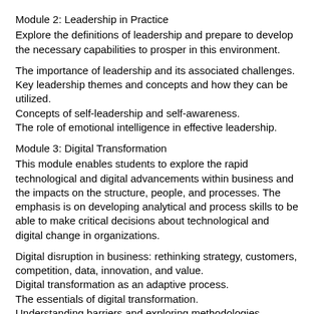Module 2: Leadership in Practice
Explore the definitions of leadership and prepare to develop the necessary capabilities to prosper in this environment.
The importance of leadership and its associated challenges.
Key leadership themes and concepts and how they can be utilized.
Concepts of self-leadership and self-awareness.
The role of emotional intelligence in effective leadership.
Module 3: Digital Transformation
This module enables students to explore the rapid technological and digital advancements within business and the impacts on the structure, people, and processes. The emphasis is on developing analytical and process skills to be able to make critical decisions about technological and digital change in organizations.
Digital disruption in business: rethinking strategy, customers, competition, data, innovation, and value.
Digital transformation as an adaptive process.
The essentials of digital transformation.
Understanding barriers and exploring methodologies.